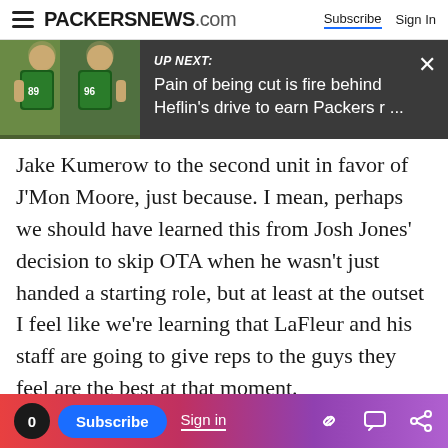PACKERSNEWS.com | Subscribe | Sign In
[Figure (screenshot): UP NEXT banner showing two Green Bay Packers players in green/yellow practice gear with text: UP NEXT: Pain of being cut is fire behind Heflin's drive to earn Packers r ...]
Jake Kumerow to the second unit in favor of J'Mon Moore, just because. I mean, perhaps we should have learned this from Josh Jones' decision to skip OTA when he wasn't just handed a starting role, but at least at the outset I feel like we're learning that LaFleur and his staff are going to give reps to the guys they feel are the best at that moment.
Advertisement
0 | Subscribe | Sign in